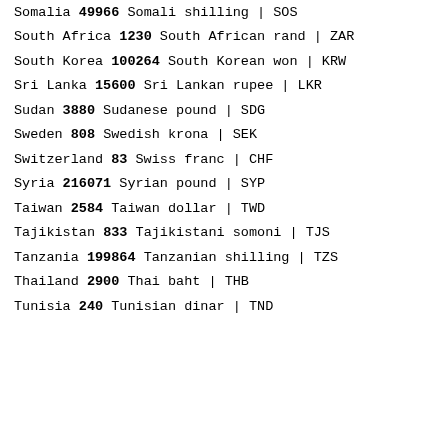Somalia 49966 Somali shilling | SOS
South Africa 1230 South African rand | ZAR
South Korea 100264 South Korean won | KRW
Sri Lanka 15600 Sri Lankan rupee | LKR
Sudan 3880 Sudanese pound | SDG
Sweden 808 Swedish krona | SEK
Switzerland 83 Swiss franc | CHF
Syria 216071 Syrian pound | SYP
Taiwan 2584 Taiwan dollar | TWD
Tajikistan 833 Tajikistani somoni | TJS
Tanzania 199864 Tanzanian shilling | TZS
Thailand 2900 Thai baht | THB
Tunisia 240 Tunisian dinar | TND